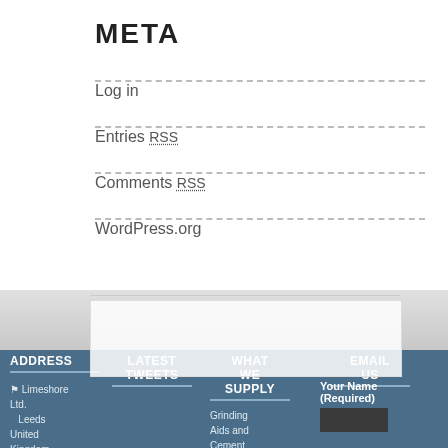META
Log in
Entries RSS
Comments RSS
WordPress.org
ADDRESS
LATEST TWEETS
WHAT WE SUPPLY
EMAIL US
Limeshore Ltd. Leeds United Kingdom
Grinding Aids and Cement
Your Name (Required)